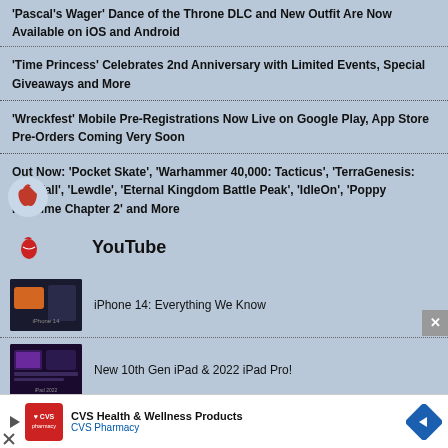'Pascal's Wager' Dance of the Throne DLC and New Outfit Are Now Available on iOS and Android
'Time Princess' Celebrates 2nd Anniversary with Limited Events, Special Giveaways and More
'Wreckfest' Mobile Pre-Registrations Now Live on Google Play, App Store Pre-Orders Coming Very Soon
Out Now: 'Pocket Skate', 'Warhammer 40,000: Tacticus', 'TerraGenesis: Landfall', 'Lewdle', 'Eternal Kingdom Battle Peak', 'IdleOn', 'Poppy Playtime Chapter 2' and More
YouTube
[Figure (photo): iPhone 14 dark themed thumbnail image]
iPhone 14: Everything We Know
[Figure (photo): New 10th Gen iPad & 2022 iPad Pro video thumbnail]
New 10th Gen iPad & 2022 iPad Pro!
[Figure (other): CVS Health & Wellness Products advertisement banner with CVS Pharmacy logo and navigation arrow icon]